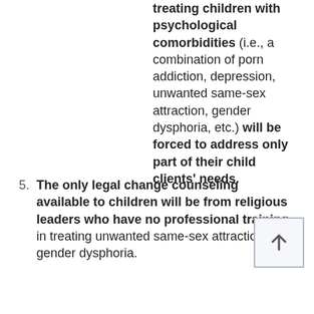treating children with psychological comorbidities (i.e., a combination of porn addiction, depression, unwanted same-sex attraction, gender dysphoria, etc.) will be forced to address only part of their child clients' needs.
5. The only legal change counseling available to children will be from religious leaders who have no professional training in treating unwanted same-sex attraction or gender dysphoria.